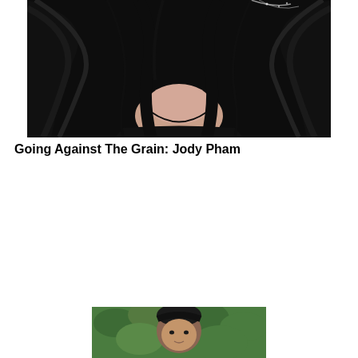[Figure (photo): Close-up photo of a woman with long dark hair wearing a black top, hair spread around her, sparkly accessory visible]
Going Against The Grain: Jody Pham
[Figure (photo): Photo of a person with short dark hair outdoors against a green leafy background, partially cropped at bottom of page]